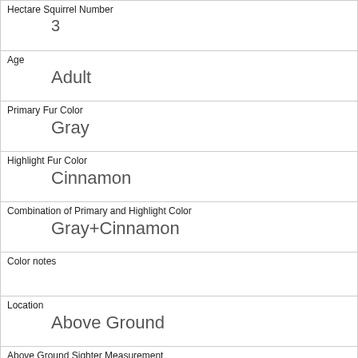| Hectare Squirrel Number | 3 |
| Age | Adult |
| Primary Fur Color | Gray |
| Highlight Fur Color | Cinnamon |
| Combination of Primary and Highlight Color | Gray+Cinnamon |
| Color notes |  |
| Location | Above Ground |
| Above Ground Sighter Measurement | 30 |
| Specific Location |  |
| Running | 0 |